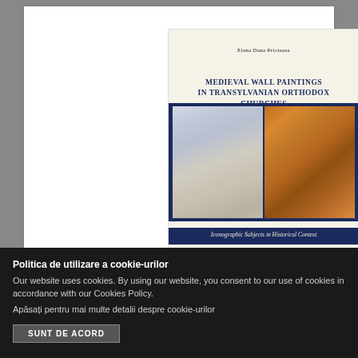[Figure (illustration): Book cover of 'Medieval Wall Paintings in Transylvanian Orthodox Churches' by Elena Dana Prioteasa. The cover shows the author name at top, the bold title in the center, two fresco/painting images side by side (left: a pale angel figure, right: a colorful Byzantine saint figure), and the subtitle 'Iconographic Subjects in Historical Context' on a dark blue background.]
Politica de utilizare a cookie-urilor
Our website uses cookies. By using our website, you consent to our use of cookies in accordance with our Cookies Policy.
Apăsați pentru mai multe detalii despre cookie-urilor
SUNT DE ACORD